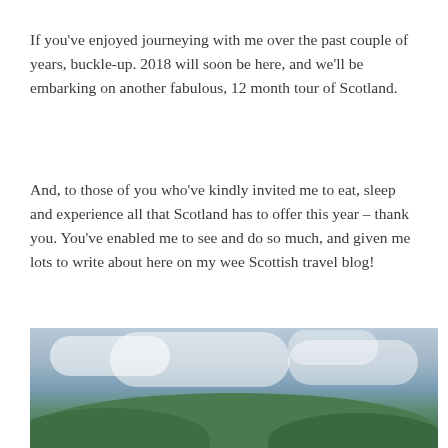If you've enjoyed journeying with me over the past couple of years, buckle-up. 2018 will soon be here, and we'll be embarking on another fabulous, 12 month tour of Scotland.
And, to those of you who've kindly invited me to eat, sleep and experience all that Scotland has to offer this year – thank you. You've enabled me to see and do so much, and given me lots to write about here on my wee Scottish travel blog!
Until next time ……….
[Figure (photo): Landscape photo of Scottish countryside with overcast sky and green hills]